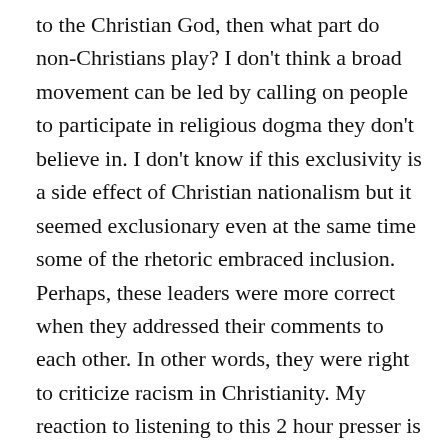to the Christian God, then what part do non-Christians play? I don't think a broad movement can be led by calling on people to participate in religious dogma they don't believe in. I don't know if this exclusivity is a side effect of Christian nationalism but it seemed exclusionary even at the same time some of the rhetoric embraced inclusion. Perhaps, these leaders were more correct when they addressed their comments to each other. In other words, they were right to criticize racism in Christianity. My reaction to listening to this 2 hour presser is to hope the good intentions lead to change in the church. I don't think the church is ready to lead the nation in some political way. If these folks can't even